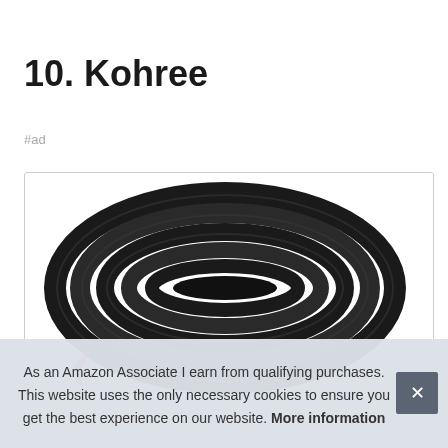10. Kohree
#ad
[Figure (photo): A coiled black cable/hose product shown from above against a white background inside a bordered box]
As an Amazon Associate I earn from qualifying purchases. This website uses the only necessary cookies to ensure you get the best experience on our website. More information